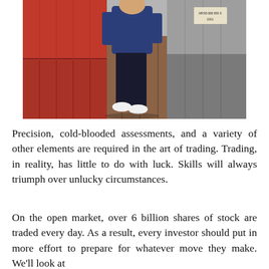[Figure (photo): A person in a blue sweatshirt and dark pants standing in front of stacked shipping containers (red, brown, and grey), with white shoes visible.]
Precision, cold-blooded assessments, and a variety of other elements are required in the art of trading. Trading, in reality, has little to do with luck. Skills will always triumph over unlucky circumstances.
On the open market, over 6 billion shares of stock are traded every day. As a result, every investor should put in more effort to prepare for whatever move they make. We'll look at